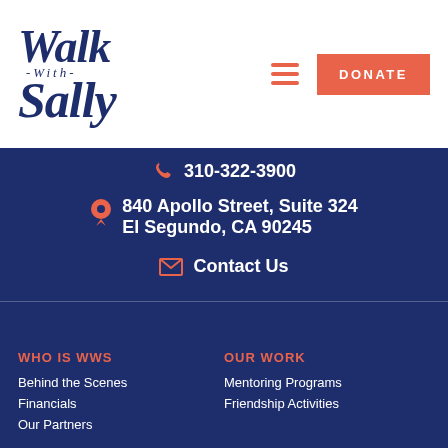[Figure (logo): Walk With Sally logo in dark navy blue italic script]
DONATE
310-322-3900
840 Apollo Street, Suite 324
El Segundo, CA 90245
Contact Us
WHO IS WWS
Behind the Scenes
Financials
Our Partners
OUR WORK
Mentoring Programs
Friendship Activities